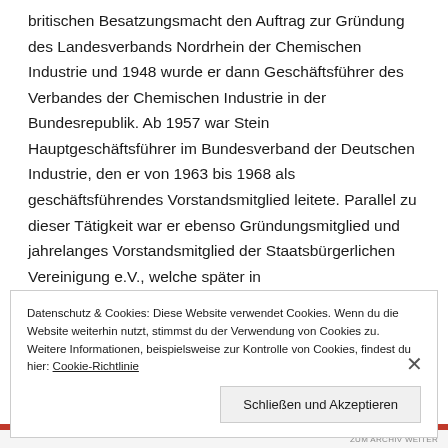britischen Besatzungsmacht den Auftrag zur Gründung des Landesverbands Nordrhein der Chemischen Industrie und 1948 wurde er dann Geschäftsführer des Verbandes der Chemischen Industrie in der Bundesrepublik. Ab 1957 war Stein Hauptgeschäftsführer im Bundesverband der Deutschen Industrie, den er von 1963 bis 1968 als geschäftsführendes Vorstandsmitglied leitete. Parallel zu dieser Tätigkeit war er ebenso Gründungsmitglied und jahrelanges Vorstandsmitglied der Staatsbürgerlichen Vereinigung e.V., welche später in
Datenschutz & Cookies: Diese Website verwendet Cookies. Wenn du die Website weiterhin nutzt, stimmst du der Verwendung von Cookies zu. Weitere Informationen, beispielsweise zur Kontrolle von Cookies, findest du hier: Cookie-Richtlinie
Schließen und Akzeptieren